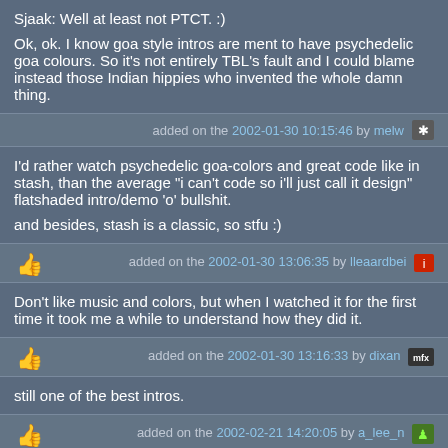Sjaak: Well at least not PTCT. :)

Ok, ok. I know goa style intros are ment to have psychedelic goa colours. So it's not entirely TBL's fault and I could blame instead those Indian hippies who invented the whole damn thing.
added on the 2002-01-30 10:15:46 by melw
I'd rather watch psychedelic goa-colors and great code like in stash, than the average "i can't code so i'll just call it design" flatshaded intro/demo 'o' bullshit.

and besides, stash is a classic, so stfu :)
added on the 2002-01-30 13:06:35 by lleaardbei
Don't like music and colors, but when I watched it for the first time it took me a while to understand how they did it.
added on the 2002-01-30 13:16:33 by dixan
still one of the best intros.
added on the 2002-02-21 14:20:05 by a_lee_n
i didn't vote on this baby so far? Gosh!